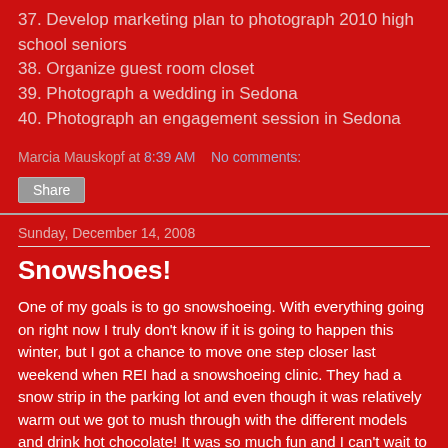37. Develop marketing plan to photograph 2010 high school seniors
38. Organize guest room closet
39. Photograph a wedding in Sedona
40. Photograph an engagement session in Sedona
Marcia Mauskopf at 8:39 AM   No comments:
Share
Sunday, December 14, 2008
Snowshoes!
One of my goals is to go snowshoeing. With everything going on right now I truly don't know if it is going to happen this winter, but I got a chance to move one step closer last weekend when REI had a snowshoeing clinic. They had a snow strip in the parking lot and even though it was relatively warm out we got to mush through with the different models and drink hot chocolate! It was so much fun and I can't wait to get on real snow up in Flagstaff and try it for real.